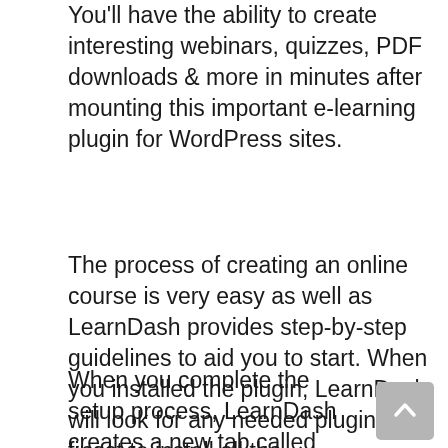You'll have the ability to create interesting webinars, quizzes, PDF downloads & more in minutes after mounting this important e-learning plugin for WordPress sites.
The process of creating an online course is very easy as well as LearnDash provides step-by-step guidelines to aid you to start. When you installed the plugin, LearnDash will look for any needed plugins. It's finest to install all the recommended WordPress plugins to make certain your course functions properly on LearnDash.
When you complete the setup process, LearnDash creates a new tab called “Courses” in your dashboard menu where